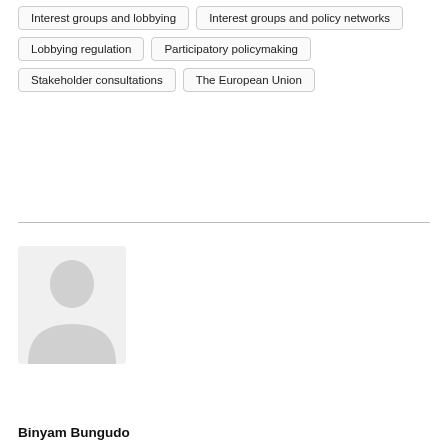Interest groups and lobbying
Interest groups and policy networks
Lobbying regulation
Participatory policymaking
Stakeholder consultations
The European Union
[Figure (illustration): Generic silhouette avatar placeholder image showing a person outline in light grey]
Binyam Bungudo